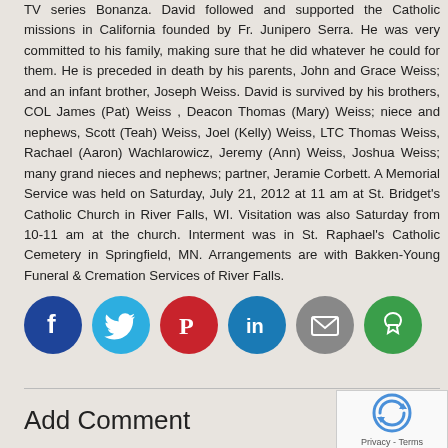TV series Bonanza.  David followed and supported the Catholic missions in California founded by Fr. Junipero Serra.  He was very committed to his family, making sure that he did whatever he could for them.  He is preceded in death by his parents, John and Grace Weiss; and an infant brother, Joseph Weiss.  David is survived by his brothers, COL James (Pat) Weiss , Deacon Thomas (Mary) Weiss; niece and nephews, Scott (Teah) Weiss, Joel (Kelly) Weiss, LTC Thomas Weiss, Rachael (Aaron) Wachlarowicz, Jeremy (Ann) Weiss, Joshua Weiss; many grand nieces and nephews; partner, Jeramie Corbett.  A Memorial Service was held on Saturday, July 21, 2012 at 11 am at St. Bridget's Catholic Church in River Falls, WI.  Visitation was also Saturday from 10-11 am at the church.  Interment was in St. Raphael's Catholic Cemetery in Springfield, MN.  Arrangements are with Bakken-Young Funeral & Cremation Services of River Falls.
[Figure (infographic): Six circular social media sharing icons: Facebook (blue), Twitter (light blue), Pinterest (red), LinkedIn (blue), Email (grey), More options (green)]
Add Comment